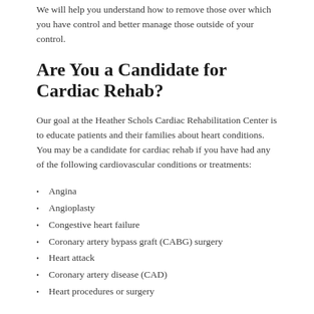We will help you understand how to remove those over which you have control and better manage those outside of your control.
Are You a Candidate for Cardiac Rehab?
Our goal at the Heather Schols Cardiac Rehabilitation Center is to educate patients and their families about heart conditions. You may be a candidate for cardiac rehab if you have had any of the following cardiovascular conditions or treatments:
Angina
Angioplasty
Congestive heart failure
Coronary artery bypass graft (CABG) surgery
Heart attack
Coronary artery disease (CAD)
Heart procedures or surgery